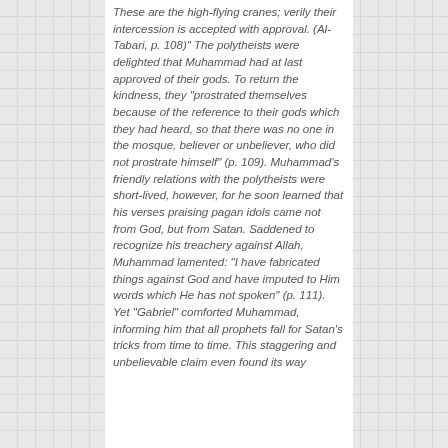These are the high-flying cranes; verily their intercession is accepted with approval. (Al-Tabari, p. 108)" The polytheists were delighted that Muhammad had at last approved of their gods. To return the kindness, they "prostrated themselves because of the reference to their gods which they had heard, so that there was no one in the mosque, believer or unbeliever, who did not prostrate himself" (p. 109). Muhammad's friendly relations with the polytheists were short-lived, however, for he soon learned that his verses praising pagan idols came not from God, but from Satan. Saddened to recognize his treachery against Allah, Muhammad lamented: "I have fabricated things against God and have imputed to Him words which He has not spoken" (p. 111). Yet "Gabriel" comforted Muhammad, informing him that all prophets fall for Satan's tricks from time to time. This staggering and unbelievable claim even found its way